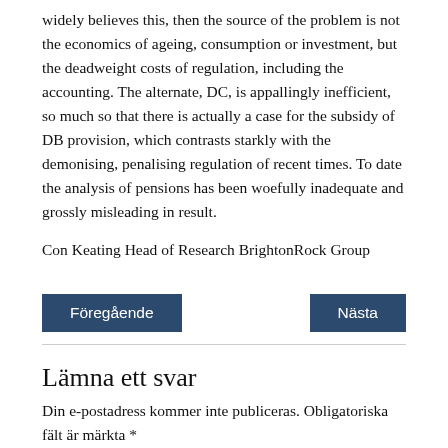widely believes this, then the source of the problem is not the economics of ageing, consumption or investment, but the deadweight costs of regulation, including the accounting. The alternate, DC, is appallingly inefficient, so much so that there is actually a case for the subsidy of DB provision, which contrasts starkly with the demonising, penalising regulation of recent times. To date the analysis of pensions has been woefully inadequate and grossly misleading in result.
Con Keating Head of Research BrightonRock Group
Föregående
Nästa
Lämna ett svar
Din e-postadress kommer inte publiceras. Obligatoriska fält är märkta *